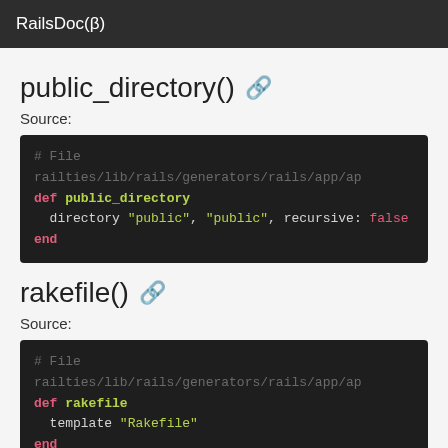RailsDoc(β)
public_directory()
Source:
[Figure (screenshot): Ruby code block showing def public_directory with directory call using 'public', 'public', recursive: false]
rakefile()
Source:
[Figure (screenshot): Ruby code block showing def rakefile with template 'Rakefile']